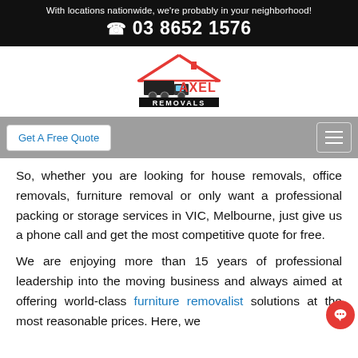With locations nationwide, we're probably in your neighborhood!
☎ 03 8652 1576
[Figure (logo): Axel Removals logo — red roof outline with a moving truck silhouette and 'AXEL REMOVALS' text in red and black]
Get A Free Quote
So, whether you are looking for house removals, office removals, furniture removal or only want a professional packing or storage services in VIC, Melbourne, just give us a phone call and get the most competitive quote for free.
We are enjoying more than 15 years of professional leadership into the moving business and always aimed at offering world-class furniture removalist solutions at the most reasonable prices. Here, we